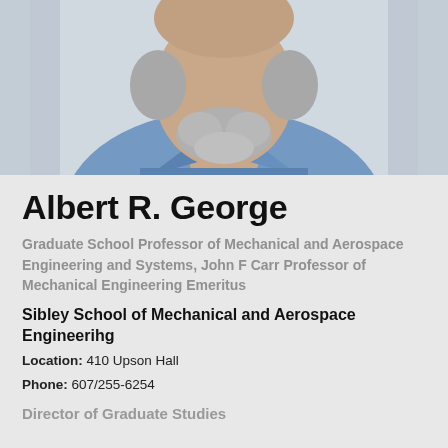[Figure (photo): Headshot photo of an older man with gray beard wearing a light blue shirt, cropped to show neck and lower face area]
Albert R. George
Graduate School Professor of Mechanical and Aerospace Engineering and Systems, John F Carr Professor of Mechanical Engineering Emeritus
Sibley School of Mechanical and Aerospace Engineerihg
Location: 410 Upson Hall
Phone: 607/255-6254
Director of Graduate Studies